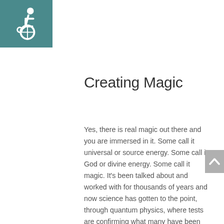[Figure (logo): Accessibility wheelchair icon in white on teal/dark cyan square background, top-left corner]
Creating Magic
Yes, there is real magic out there and you are immersed in it. Some call it universal or source energy. Some call it God or divine energy. Some call it magic. It’s been talked about and worked with for thousands of years and now science has gotten to the point, through quantum physics, where tests are confirming what many have been saying: We are all connected by this energy and we all affect it. Tapping into that energy allows me to perform what I call Energetic Magic, and I have made this method of actually editing your reality available to you.